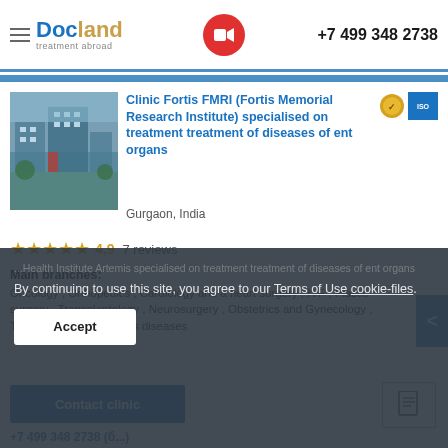Docland treatment abroad | +7 499 348 2738
Clinic Fortis FMRI (Fortis Memorial Research Institute) specialised on treatment treatment of diseases of ent organs
Gurgaon, India
4,9  7 reviews
Main branches: Oncology , Orthopedics , Cardiology and a heart surgery , IVF , Plastic surgery , Transplantology , Neurosurgery , Obstetrics and Gynecology , Traumatology , Infectious diseases
Contact clinic
By continuing to use this site, you agree to our Terms of Use cookie-files.
Accept